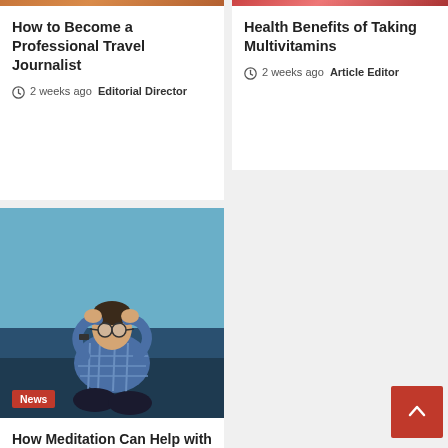[Figure (photo): Top portion of orange/brown image for travel journalist article]
How to Become a Professional Travel Journalist
2 weeks ago  Editorial Director
[Figure (photo): Top portion of reddish image for multivitamins article]
Health Benefits of Taking Multivitamins
2 weeks ago  Article Editor
[Figure (photo): Man sitting with hands on head in stressed posture, blue/ocean background, with News badge]
How Meditation Can Help with Stress